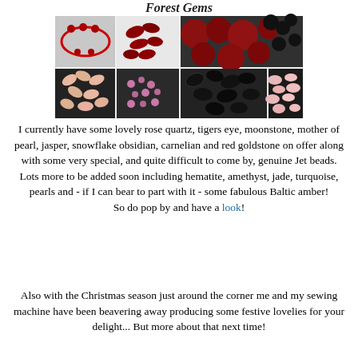[Figure (photo): Collage of gemstone beads including rose quartz, red beads, dark/black beads, natural stone beads, pink rose quartz chips, and dark mineral beads arranged in a grid with a 'Forest Gems' italic title at top.]
I currently have some lovely rose quartz, tigers eye, moonstone, mother of pearl, jasper, snowflake obsidian, carnelian and red goldstone on offer along with some very special, and quite difficult to come by, genuine Jet beads. Lots more to be added soon including hematite, amethyst, jade, turquoise, pearls and - if I can bear to part with it - some fabulous Baltic amber! So do pop by and have a look!
Also with the Christmas season just around the corner me and my sewing machine have been beavering away producing some festive lovelies for your delight... But more about that next time!